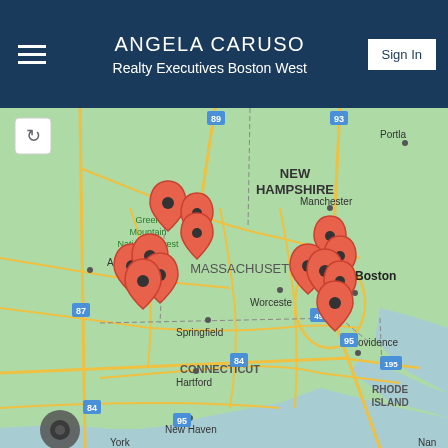ANGELA CARUSO
Realty Executives Boston West
[Figure (map): Google Maps view of New England region including Massachusetts, New Hampshire, Connecticut, Rhode Island, Vermont, and parts of New York. Multiple red location pin markers are clustered near central Massachusetts and the Boston area. Cities labeled include Albany, Manchester, Worcester, Boston, Springfield, Hartford, Providence, New Haven. Geographic features labeled include Green Mountain National Forest, New Hampshire, Massachusetts, Connecticut, Rhode Island. Highway markers visible include 89, 93, 87, 495, 95, 84, 195. A reload button and settings gear icon are visible on the map.]